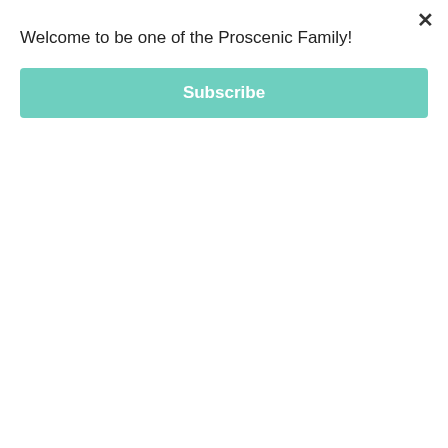Welcome to be one of the Proscenic Family!
Subscribe
×
[Figure (photo): Product promotional image showing a vacuum cleaner battery/charging component with blue electric lightning effects and a circular progress indicator showing 75% Upgrading. The background is dark/black with the text '2.5 hours, saving 2 to 3 hours than other vacuum.' overlaid in white at the top. A 'TOP' navigation button appears on the right side, a 'proscenic' watermark appears on the left side, and a chat bubble icon appears at the bottom right.]
2.5 hours, saving 2 to 3 hours than other vacuum.
TOP
75%
Upgrading